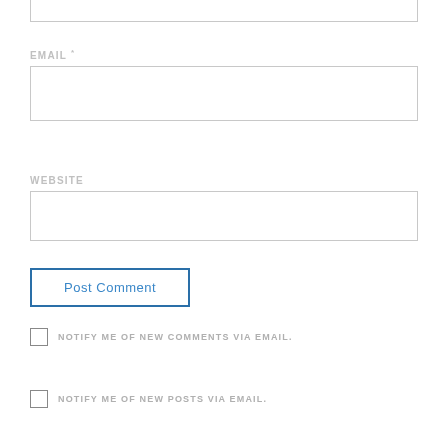EMAIL *
WEBSITE
Post Comment
NOTIFY ME OF NEW COMMENTS VIA EMAIL.
NOTIFY ME OF NEW POSTS VIA EMAIL.